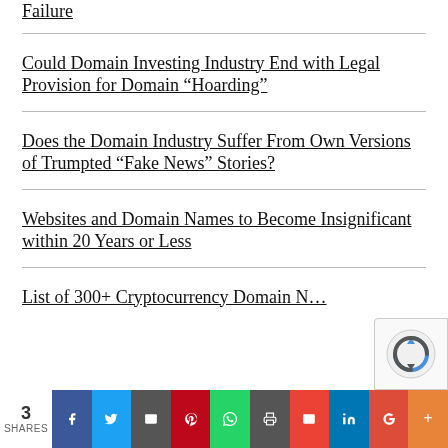Failure
Could Domain Investing Industry End with Legal Provision for Domain “Hoarding”
Does the Domain Industry Suffer From Own Versions of Trumpted “Fake News” Stories?
Websites and Domain Names to Become Insignificant within 20 Years or Less
List of 300+ Cryptocurrency Domain N…
3 SHARES | Facebook | Twitter | Email | Pinterest | WhatsApp | Print | Gmail | LinkedIn | Google+ | More